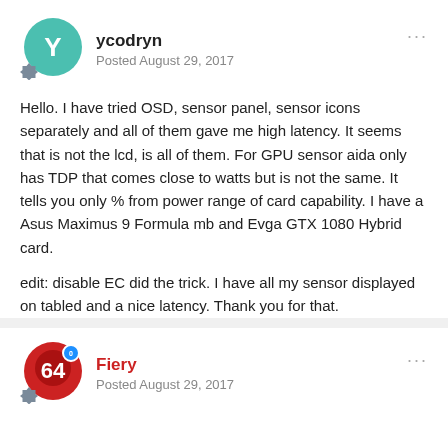ycodryn
Posted August 29, 2017
Hello. I have tried OSD, sensor panel, sensor icons separately and all of them gave me high latency. It seems that is not the lcd, is all of them. For GPU sensor aida only has TDP that comes close to watts but is not the same. It tells you only % from power range of card capability. I have a Asus Maximus 9 Formula mb and Evga GTX 1080 Hybrid card.
edit: disable EC did the trick. I have all my sensor displayed on tabled and a nice latency. Thank you for that.
Quote
Fiery
Posted August 29, 2017